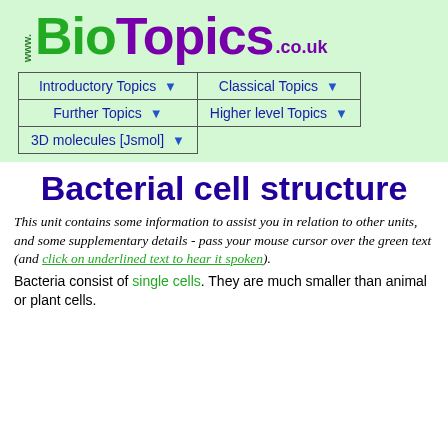[Figure (logo): www.BioTopics.co.uk logo on light green background with navigation menu buttons: Introductory Topics, Classical Topics, Further Topics, Higher level Topics, 3D molecules [Jsmol]]
Bacterial cell structure
This unit contains some information to assist you in relation to other units, and some supplementary details - pass your mouse cursor over the green text (and click on underlined text to hear it spoken).
Bacteria consist of single cells. They are much smaller than animal or plant cells.